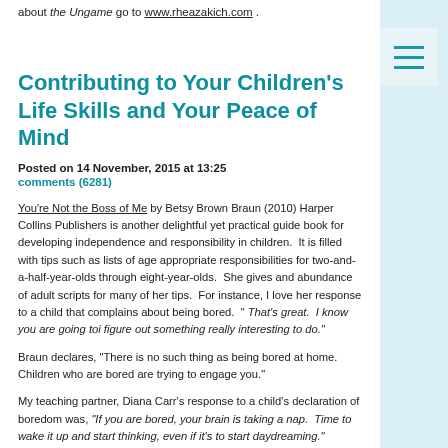about the Ungame go to www.rheazakich.com .
Contributing to Your Children's Life Skills and Your Peace of Mind
Posted on 14 November, 2015 at 13:25
comments (6281)
You're Not the Boss of Me by Betsy Brown Braun (2010) Harper Collins Publishers is another delightful yet practical guide book for developing independence and responsibility in children.  It is filled with tips such as lists of age appropriate responsibilities for two-and-a-half-year-olds through eight-year-olds.  She gives and abundance of adult scripts for many of her tips.  For instance, I love her response to a child that complains about being bored.  " That's great.  I know you are going toi figure out something really interesting to do."
Braun declares, "There is no such thing as being bored at home.  Children who are bored are trying to engage you."
My teaching partner, Diana Carr's response to a child's declaration of boredom was, "If you are bored, your brain is taking a nap.  Time to wake it up and start thinking, even if it's to start daydreaming."